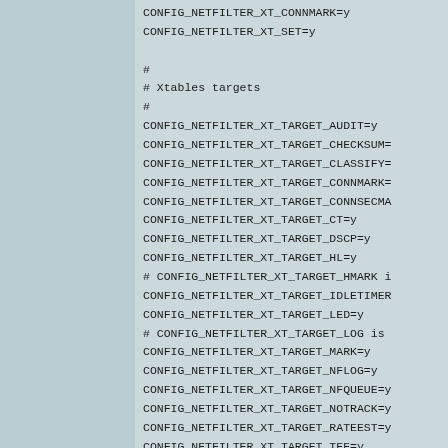CONFIG_NETFILTER_XT_CONNMARK=y
CONFIG_NETFILTER_XT_SET=y

#
# Xtables targets
#
CONFIG_NETFILTER_XT_TARGET_AUDIT=y
CONFIG_NETFILTER_XT_TARGET_CHECKSUM=
CONFIG_NETFILTER_XT_TARGET_CLASSIFY=
CONFIG_NETFILTER_XT_TARGET_CONNMARK=
CONFIG_NETFILTER_XT_TARGET_CONNSECMA
CONFIG_NETFILTER_XT_TARGET_CT=y
CONFIG_NETFILTER_XT_TARGET_DSCP=y
CONFIG_NETFILTER_XT_TARGET_HL=y
# CONFIG_NETFILTER_XT_TARGET_HMARK i
CONFIG_NETFILTER_XT_TARGET_IDLETIMER
CONFIG_NETFILTER_XT_TARGET_LED=y
# CONFIG_NETFILTER_XT_TARGET_LOG is
CONFIG_NETFILTER_XT_TARGET_MARK=y
CONFIG_NETFILTER_XT_TARGET_NFLOG=y
CONFIG_NETFILTER_XT_TARGET_NFQUEUE=y
CONFIG_NETFILTER_XT_TARGET_NOTRACK=y
CONFIG_NETFILTER_XT_TARGET_RATEEST=y
CONFIG_NETFILTER_XT_TARGET_TEE=y
CONFIG_NETFILTER_XT_TARGET_TPROXY=y
CONFIG_NETFILTER_XT_TARGET_TRACE=y
CONFIG_NETFILTER_XT_TARGET_SECMARK=y
CONFIG_NETFILTER_XT_TARGET_TCPMSS=y
CONFIG_NETFILTER_XT_TARGET_TCPOPTSTR